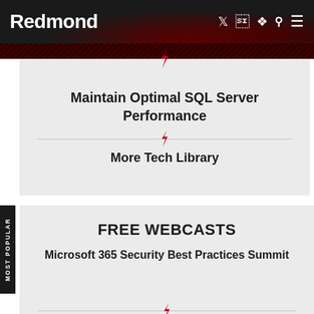Redmond
Maintain Optimal SQL Server Performance
More Tech Library
FREE WEBCASTS
Microsoft 365 Security Best Practices Summit